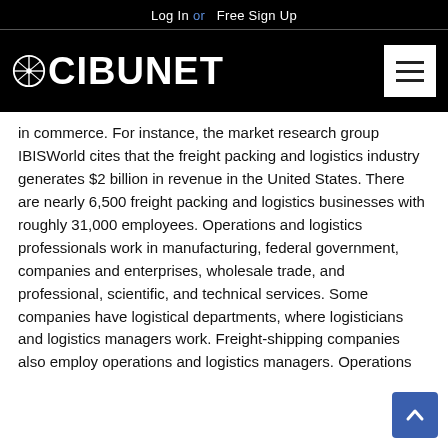Log In or Free Sign Up
CIBUNET
in commerce. For instance, the market research group IBISWorld cites that the freight packing and logistics industry generates $2 billion in revenue in the United States. There are nearly 6,500 freight packing and logistics businesses with roughly 31,000 employees. Operations and logistics professionals work in manufacturing, federal government, companies and enterprises, wholesale trade, and professional, scientific, and technical services. Some companies have logistical departments, where logisticians and logistics managers work. Freight-shipping companies also employ operations and logistics managers. Operations and logistics workers are needed for scheduling and overseeing trucking, tracking inventory, mapping out the delivery of merchandise, and storing and handling products and materials. The key jobs in